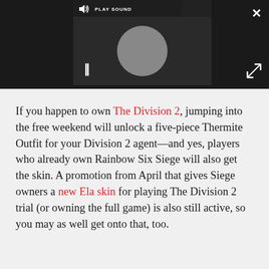[Figure (screenshot): Embedded video player with dark background, a circular loading/spinner graphic, a PLAY SOUND button bar at top left, a pause button (||) at bottom left, a close (×) button at top right of the outer area, and an expand button at bottom right.]
If you happen to own The Division 2, jumping into the free weekend will unlock a five-piece Thermite Outfit for your Division 2 agent—and yes, players who already own Rainbow Six Siege will also get the skin. A promotion from April that gives Siege owners a new Ela skin for playing The Division 2 trial (or owning the full game) is also still active, so you may as well get onto that, too.